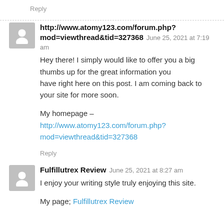Reply
http://www.atomy123.com/forum.php?mod=viewthread&tid=327368   June 25, 2021 at 7:19 am
Hey there! I simply would like to offer you a big thumbs up for the great information you have right here on this post. I am coming back to your site for more soon.
My homepage – http://www.atomy123.com/forum.php?mod=viewthread&tid=327368
Reply
Fulfillutrex Review   June 25, 2021 at 8:27 am
I enjoy your writing style truly enjoying this site.
My page; Fulfillutrex Review